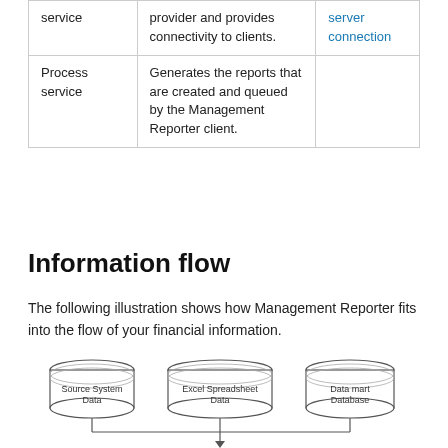|  |  |  |
| --- | --- | --- |
| service | provider and provides connectivity to clients. | server connection |
| Process service | Generates the reports that are created and queued by the Management Reporter client. |  |
Information flow
The following illustration shows how Management Reporter fits into the flow of your financial information.
[Figure (flowchart): Flowchart showing three database cylinders at top: Source System Data, Excel Spreadsheet Data, Data mart Database. Lines converge downward with an arrow to a fourth cylinder labeled Report Designer, with a line continuing downward.]